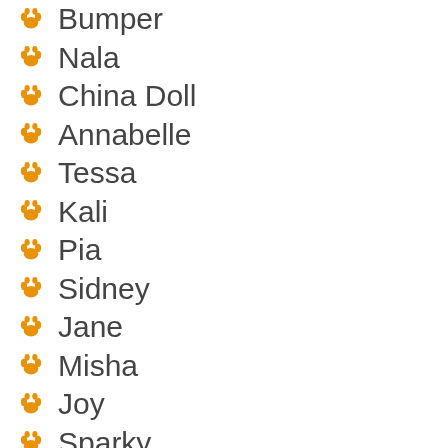Bumper
Nala
China Doll
Annabelle
Tessa
Kali
Pia
Sidney
Jane
Misha
Joy
Sparky
Wilma
Whisper